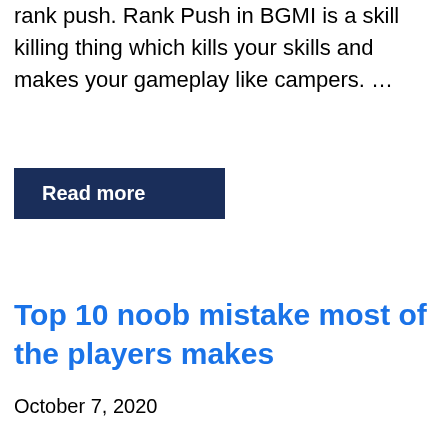rank push. Rank Push in BGMI is a skill killing thing which kills your skills and makes your gameplay like campers. …
Read more
Top 10 noob mistake most of the players makes
October 7, 2020